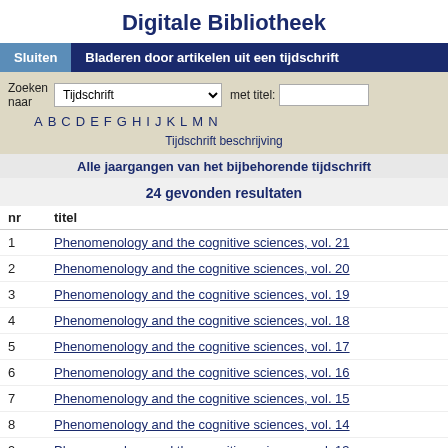Digitale Bibliotheek
Sluiten | Bladeren door artikelen uit een tijdschrift
Zoeken naar [Tijdschrift dropdown] met titel: [input]
A B C D E F G H I J K L M N
Tijdschrift beschrijving
Alle jaargangen van het bijbehorende tijdschrift
24 gevonden resultaten
| nr | titel |
| --- | --- |
| 1 | Phenomenology and the cognitive sciences, vol. 21 |
| 2 | Phenomenology and the cognitive sciences, vol. 20 |
| 3 | Phenomenology and the cognitive sciences, vol. 19 |
| 4 | Phenomenology and the cognitive sciences, vol. 18 |
| 5 | Phenomenology and the cognitive sciences, vol. 17 |
| 6 | Phenomenology and the cognitive sciences, vol. 16 |
| 7 | Phenomenology and the cognitive sciences, vol. 15 |
| 8 | Phenomenology and the cognitive sciences, vol. 14 |
| 9 | Phenomenology and the cognitive sciences, vol. 13 |